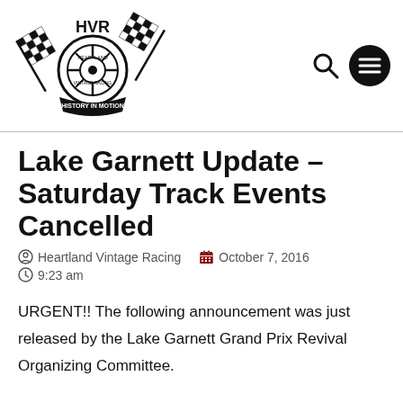[Figure (logo): HVR Heartland Vintage Racing logo with checkered flags, a tire in the center, and 'History in Motion' banner]
Lake Garnett Update – Saturday Track Events Cancelled
Heartland Vintage Racing   October 7, 2016   9:23 am
URGENT!! The following announcement was just released by the Lake Garnett Grand Prix Revival Organizing Committee.